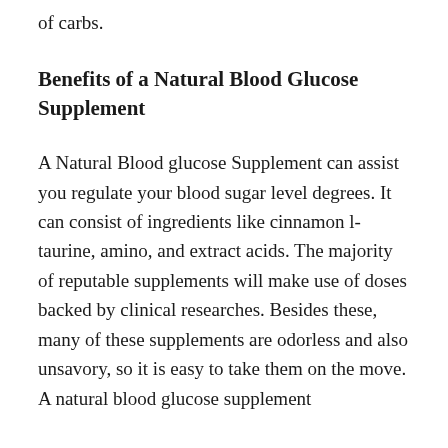of carbs.
Benefits of a Natural Blood Glucose Supplement
A Natural Blood glucose Supplement can assist you regulate your blood sugar level degrees. It can consist of ingredients like cinnamon l-taurine, amino, and extract acids. The majority of reputable supplements will make use of doses backed by clinical researches. Besides these, many of these supplements are odorless and also unsavory, so it is easy to take them on the move. A natural blood glucose supplement